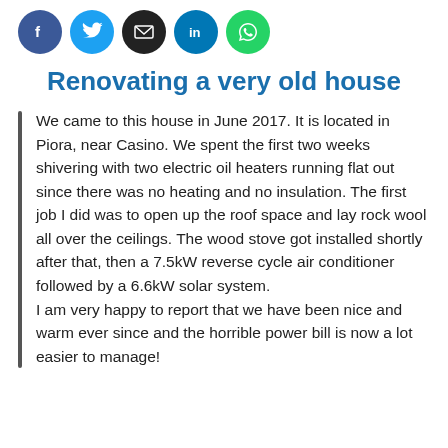[Figure (other): Row of five social media share icons: Facebook (dark blue circle), Twitter (light blue circle), Email (black circle), LinkedIn (dark blue circle), WhatsApp (green circle)]
Renovating a very old house
We came to this house in June 2017. It is located in Piora, near Casino. We spent the first two weeks shivering with two electric oil heaters running flat out since there was no heating and no insulation. The first job I did was to open up the roof space and lay rock wool all over the ceilings. The wood stove got installed shortly after that, then a 7.5kW reverse cycle air conditioner followed by a 6.6kW solar system.
I am very happy to report that we have been nice and warm ever since and the horrible power bill is now a lot easier to manage!